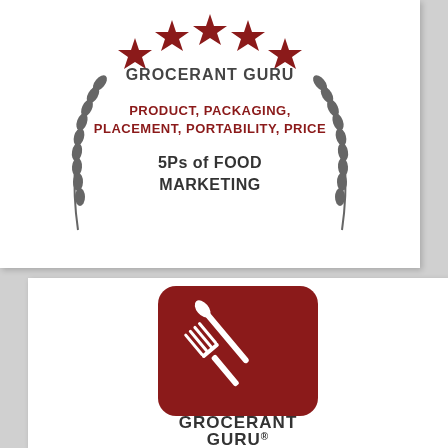[Figure (logo): Grocerant Guru award emblem with 5 dark red stars arranged in an arc above laurel branches on each side, text GROCERANT GURU in the center top, below it in dark red uppercase: PRODUCT, PACKAGING, PLACEMENT, PORTABILITY, PRICE, and below in dark gray bold: 5Ps of FOOD MARKETING]
[Figure (logo): Grocerant Guru logo: dark red rounded square with white fork and knife silhouette, text GROCERANT GURU with registered trademark symbol below]